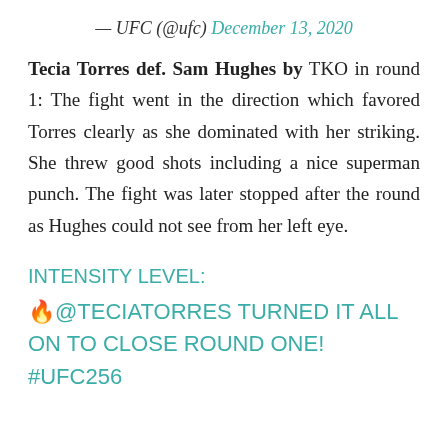— UFC (@ufc) December 13, 2020
Tecia Torres def. Sam Hughes by TKO in round 1: The fight went in the direction which favored Torres clearly as she dominated with her striking. She threw good shots including a nice superman punch. The fight was later stopped after the round as Hughes could not see from her left eye.
INTENSITY LEVEL:
🔥@TECIATORRES TURNED IT ALL ON TO CLOSE ROUND ONE! #UFC256